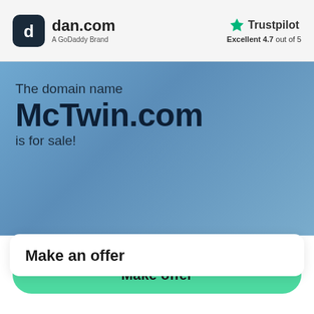[Figure (logo): dan.com logo with rounded square icon and 'A GoDaddy Brand' subtitle, plus Trustpilot star logo with 'Excellent 4.7 out of 5' rating]
The domain name McTwin.com is for sale!
Make an offer
Make offer